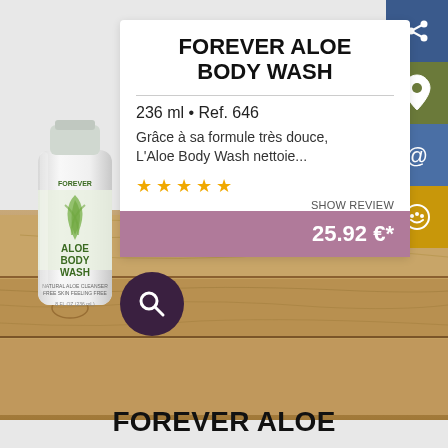FOREVER ALOE BODY WASH
236 ml • Ref. 646
Grâce à sa formule très douce, L'Aloe Body Wash nettoie...
★ ★ ★ ★ ★  SHOW REVIEW
25.92 €*
[Figure (photo): Forever Aloe Body Wash product tube, white with green aloe design]
FOREVER ALOE